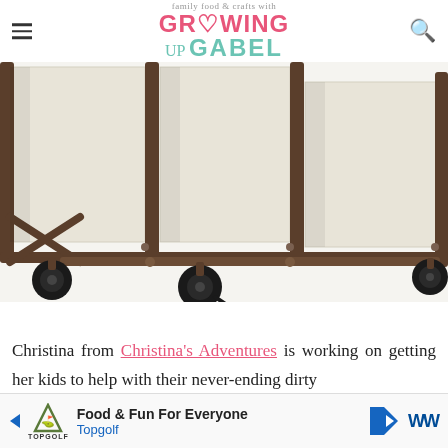family food & crafts with GROWING UP GABEL
[Figure (photo): Close-up product photo of a laundry sorter cart with bronze/dark metal frame and cream/beige fabric bins, showing caster wheels at the bottom]
Christina from Christina's Adventures is working on getting her kids to help with their never-ending dirty laundry system for
[Figure (infographic): Advertisement banner: Food & Fun For Everyone - Topgolf]